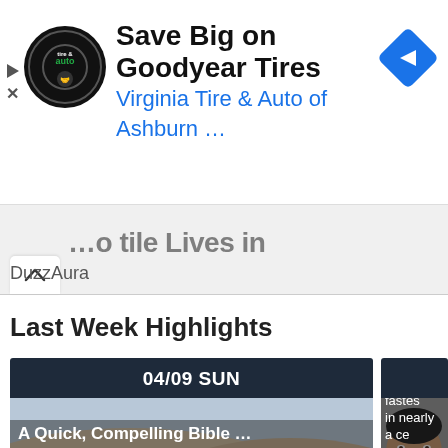[Figure (screenshot): Advertisement banner for Virginia Tire & Auto of Ashburn featuring Goodyear Tires promotion with logo, headline, and navigation diamond icon]
Save Big on Goodyear Tires
Virginia Tire & Auto of Ashburn …
…o tile Lives in
DuzzAura
Last Week Highlights
04/09 SUN
[Figure (photo): Aerial panoramic photo of Jerusalem showing the Dome of the Rock with its golden dome among ancient stone buildings on a hillside]
A Quick, Compelling Bible …
[Figure (photo): Partial photo of a smiling man (Barack Obama) with overlay text about life expectancy]
Life expectan falls at fastes in nearly a ce